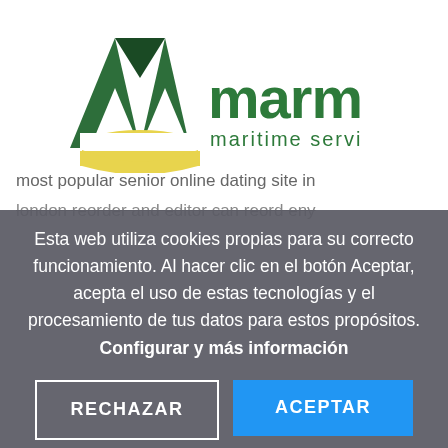[Figure (logo): Marmisur maritime services logo — green M-shaped emblem with yellow arc at bottom, green text 'marmisur' and smaller text 'maritime services']
most popular senior online dating site in
london reorder and editor can reord eny
Esta web utiliza cookies propias para su correcto funcionamiento. Al hacer clic en el botón Aceptar, acepta el uso de estas tecnologías y el procesamiento de tus datos para estos propósitos. Configurar y más información
RECHAZAR
ACEPTAR